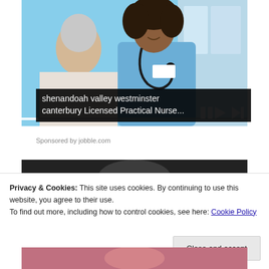[Figure (photo): A smiling Black female nurse in blue scrubs with a stethoscope attending to an elderly white-haired patient. A video scrub bar and playback controls are visible at the bottom of the image.]
shenandoah valley westminster canterbury Licensed Practical Nurse...
Sponsored by jobble.com
[Figure (photo): Dark partially visible image strip, second slideshow photo.]
Privacy & Cookies: This site uses cookies. By continuing to use this website, you agree to their use.
To find out more, including how to control cookies, see here: Cookie Policy
[Figure (photo): Partial bottom photo strip showing a woman.]